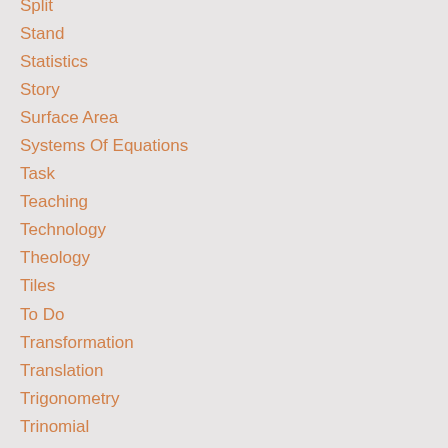Split
Stand
Statistics
Story
Surface Area
Systems Of Equations
Task
Teaching
Technology
Theology
Tiles
To Do
Transformation
Translation
Trigonometry
Trinomial
Twitter
Unit Circle
Vernier